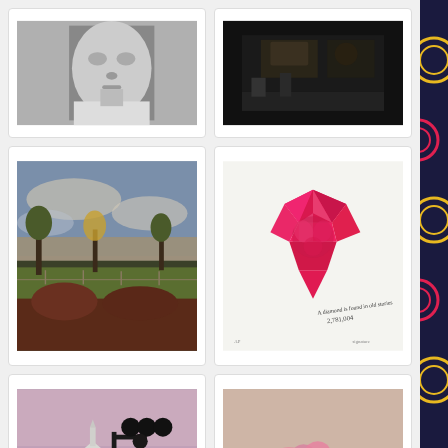[Figure (photo): Black and white close-up portrait of a young person's face]
[Figure (photo): Dark indoor photograph, possibly a room or bar scene with low lighting]
[Figure (photo): Outdoor landscape photo with trees, fields and cloudy sky at dusk]
[Figure (illustration): Pink/magenta screen print illustration of a diamond gemstone on white background with handwritten text]
[Figure (photo): Outdoor street scene with a white church building and a railroad crossing stop sign]
[Figure (photo): Outdoor landscape with pink flowering tree in an open field at dusk]